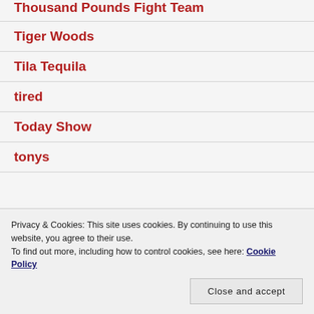Thousand Pounds Fight Team
Tiger Woods
Tila Tequila
tired
Today Show
tonys
Privacy & Cookies: This site uses cookies. By continuing to use this website, you agree to their use.
To find out more, including how to control cookies, see here: Cookie Policy
Close and accept